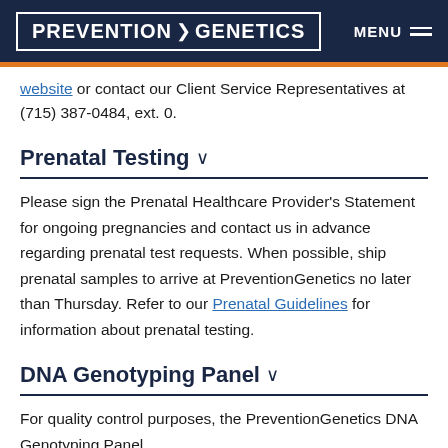PREVENTION GENETICS | MENU
website or contact our Client Service Representatives at (715) 387-0484, ext. 0.
Prenatal Testing
Please sign the Prenatal Healthcare Provider's Statement for ongoing pregnancies and contact us in advance regarding prenatal test requests. When possible, ship prenatal samples to arrive at PreventionGenetics no later than Thursday. Refer to our Prenatal Guidelines for information about prenatal testing.
DNA Genotyping Panel
For quality control purposes, the PreventionGenetics DNA Genotyping Panel...